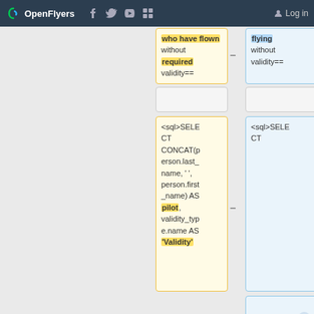OpenFlyers | Log in
who have flown without required validity==
flying without validity==
<sql>SELECT CONCAT(person.last_name, ' ', person.first_name) AS pilot, validity_type.name AS 'Validity'
<sql>SELECT